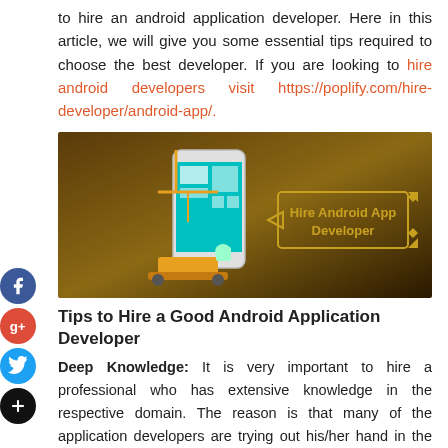to hire an android application developer. Here in this article, we will give you some essential tips required to choose the best developer. If you are looking to hire android developers visit https://poplify.com/hire-developer/android-app/.
[Figure (illustration): Banner image with dark brown/golden gradient background showing a smartphone with construction cranes and the text 'Hire Android App Developer' in a decorative bordered box with diamond shapes.]
Tips to Hire a Good Android Application Developer
Deep Knowledge: It is very important to hire a professional who has extensive knowledge in the respective domain. The reason is that many of the application developers are trying out his/her hand in the field purely for making money.